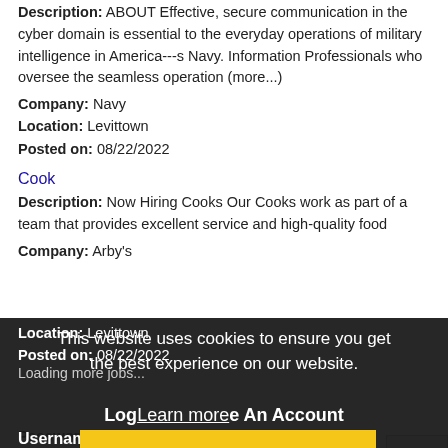Description: ABOUT Effective, secure communication in the cyber domain is essential to the everyday operations of military intelligence in America---s Navy. Information Professionals who oversee the seamless operation (more...)
Company: Navy
Location: Levittown
Posted on: 08/22/2022
Cook
Description: Now Hiring Cooks Our Cooks work as part of a team that provides excellent service and high-quality food
Company: Arby's
Location: Levittown
Posted on: 08/22/2022
Loading more jobs...
This website uses cookies to ensure you get the best experience on our website.
Log Learn more e An Account
Username:
Got it!
Password: